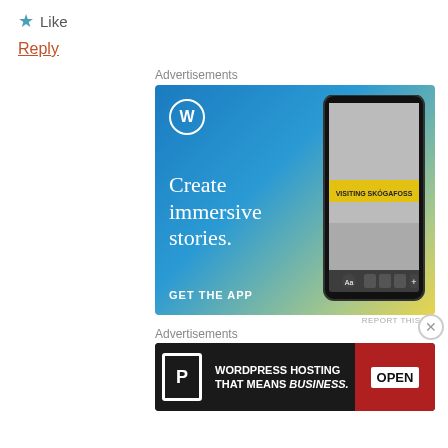★ Like
Reply
Advertisements
[Figure (illustration): WordPress promotional ad with gradient blue-to-yellow background, WordPress logo, large white serif text reading 'Create immersive stories.', 'GET THE APP' CTA, and a phone mockup showing 'VISITING SKÓGAFOSS']
REPORT THIS AD
Advertisements
[Figure (illustration): WordPress Hosting ad on dark background with 'P' icon, text 'WORDPRESS HOSTING THAT MEANS BUSINESS.' and an open sign image on the right]